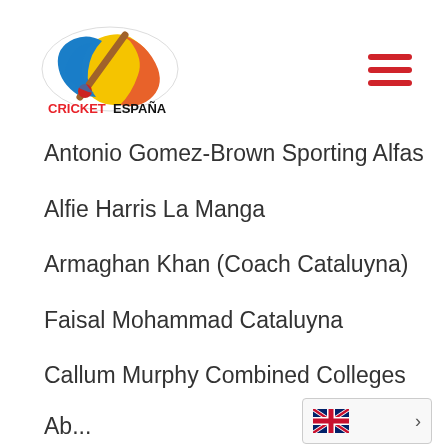[Figure (logo): Cricket España logo with colorful cricket bat and ball motif above the text CRICKETESPAÑA]
Antonio Gomez-Brown Sporting Alfas
Alfie Harris La Manga
Armaghan Khan (Coach Cataluyna)
Faisal Mohammad Cataluyna
Callum Murphy Combined Colleges
[Figure (illustration): UK flag language selector widget with arrow]